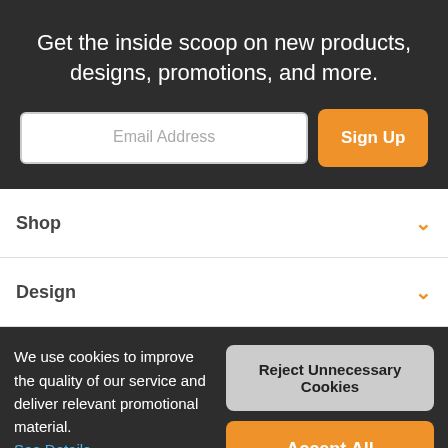Get the inside scoop on new products, designs, promotions, and more.
Email Address
Sign Up
Shop
Design
We use cookies to improve the quality of our service and deliver relevant promotional material. See Details
Reject Unnecessary Cookies
Accept All